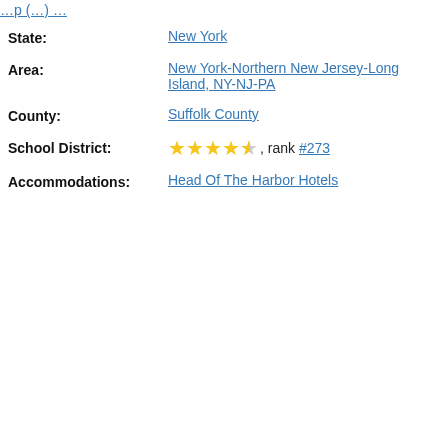State: New York
Area: New York-Northern New Jersey-Long Island, NY-NJ-PA
County: Suffolk County
School District: ★★★★½, rank #273
Accommodations: Head Of The Harbor Hotels